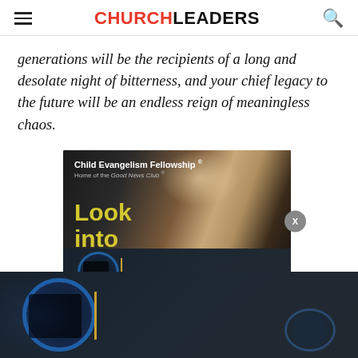CHURCHLEADERS
generations will be the recipients of a long and desolate night of bitterness, and your chief legacy to the future will be an endless reign of meaningless chaos.
[Figure (photo): Advertisement for Child Evangelism Fellowship - Home of the Good News Club, showing a child's face with text 'Look into my' in yellow, overlaid with a video player showing silhouettes of people with a blue circle graphic and a close (X) button]
[Figure (screenshot): Video overlay strip at bottom showing dark scene with blue circular graphic, silhouettes of people, and a vertical golden line element]